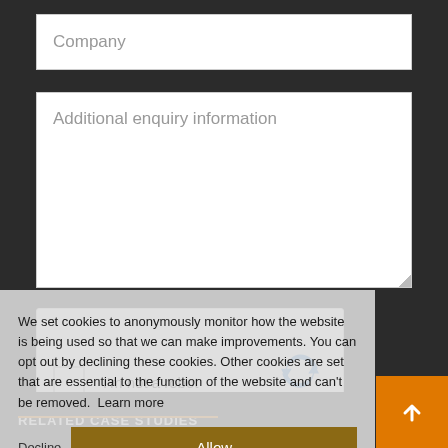[Figure (screenshot): Web form field with placeholder text 'Company']
[Figure (screenshot): Web form textarea with placeholder text 'Additional enquiry information']
[Figure (screenshot): reCAPTCHA widget with checkbox labeled 'I'm not a robot']
We set cookies to anonymously monitor how the website is being used so that we can make improvements. You can opt out by declining these cookies. Other cookies are set that are essential to the function of the website and can't be removed.  Learn more
Decline  Allow
RELATED CASE STUDIES